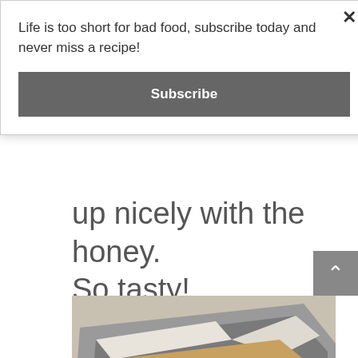Life is too short for bad food, subscribe today and never miss a recipe!
Subscribe
up nicely with the honey.
So tasty!
[Figure (photo): A rectangular baking pan lined with white parchment paper, filled with a granola or oat-based mixture with visible dark pieces, viewed from above at an angle on a light surface.]